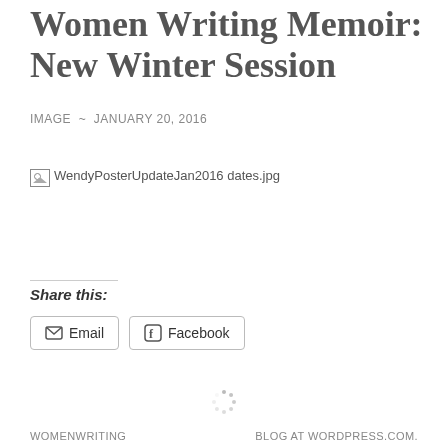Women Writing Memoir: New Winter Session
IMAGE ~ JANUARY 20, 2016
[Figure (photo): Broken image placeholder for WendyPosterUpdateJan2016 dates.jpg]
Share this:
Email  Facebook
WOMENWRITING    BLOG AT WORDPRESS.COM.